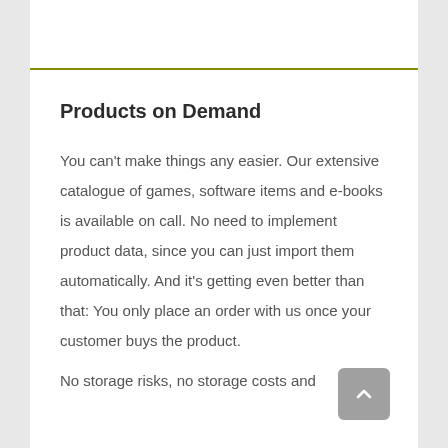Products on Demand
You can't make things any easier. Our extensive catalogue of games, software items and e-books is available on call. No need to implement product data, since you can just import them automatically. And it's getting even better than that: You only place an order with us once your customer buys the product.
No storage risks, no storage costs and